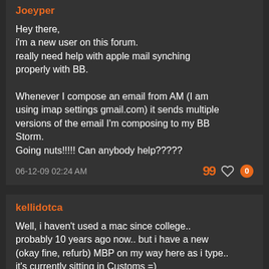Joeyper
Hey there,
i'm a new user on this forum.
really need help with apple mail synching properly with BB.

Whenever I compose an email from AM (I am using imap settings gmail.com) it sends multiple versions of the email I'm composing to my BB Storm.
Going nuts!!!!! Can anybody help?????
06-12-09 02:24 AM
kellidotca
Well, i haven't used a mac since college.. probably 10 years ago now.. but i have a new (okay fine, refurb) MBP on my way here as i type.. it's currently sitting in Customs =)

I thought i'd do some research on what i'm up